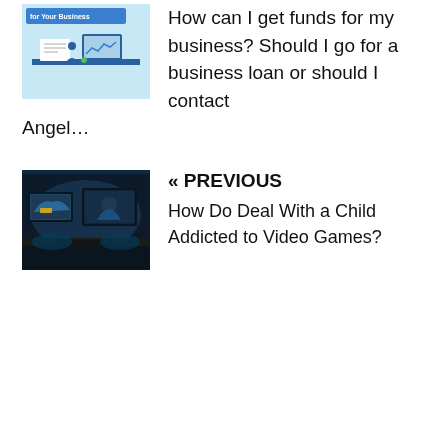[Figure (illustration): Thumbnail image for a business funding article with light blue background and financial chart graphics, with text 'for Your Business' in blue at the top]
How can I get funds for my business? Should I go for a business loan or should I contact Angel...
[Figure (photo): Dark-toned photo of a gaming setup with multiple monitors showing games in a dimly lit room with blue/teal lighting]
« PREVIOUS
How Do Deal With a Child Addicted to Video Games?